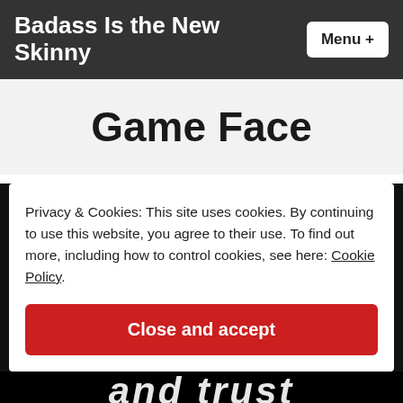Badass Is the New Skinny
Game Face
Privacy & Cookies: This site uses cookies. By continuing to use this website, you agree to their use. To find out more, including how to control cookies, see here: Cookie Policy
Close and accept